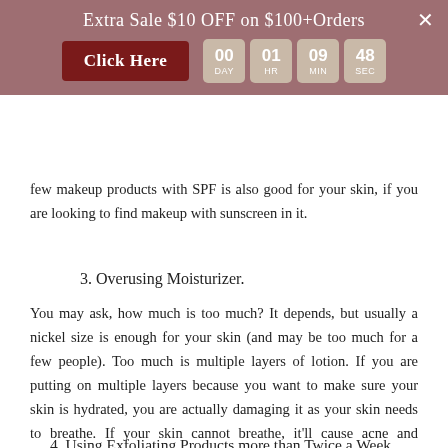Extra Sale $10 OFF on $100+Orders | Click Here | 00 DAY 01 HR 09 MIN 48 SEC
few makeup products with SPF is also good for your skin, if you are looking to find makeup with sunscreen in it.
3. Overusing Moisturizer.
You may ask, how much is too much? It depends, but usually a nickel size is enough for your skin (and may be too much for a few people). Too much is multiple layers of lotion. If you are putting on multiple layers because you want to make sure your skin is hydrated, you are actually damaging it as your skin needs to breathe. If your skin cannot breathe, it'll cause acne and redness.
4. Using Exfoliating Products more than Twice a Week.